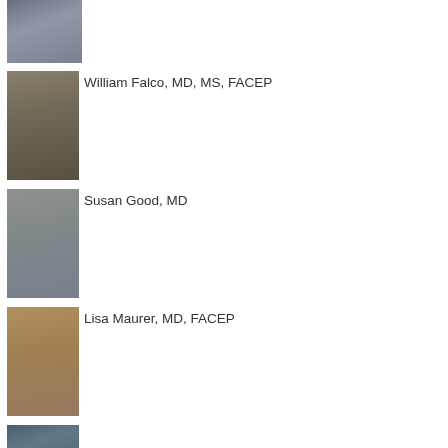[Figure (photo): Headshot of male physician in dark suit and tie]
[Figure (photo): Headshot of William Falco, bald male physician in dark jacket and green shirt]
William Falco, MD, MS, FACEP
[Figure (photo): Headshot of Susan Good, female physician with dark hair in black jacket]
Susan Good, MD
[Figure (photo): Headshot of Lisa Maurer, female physician with light brown hair]
Lisa Maurer, MD, FACEP
[Figure (photo): Partial headshot of another physician, partially cropped]